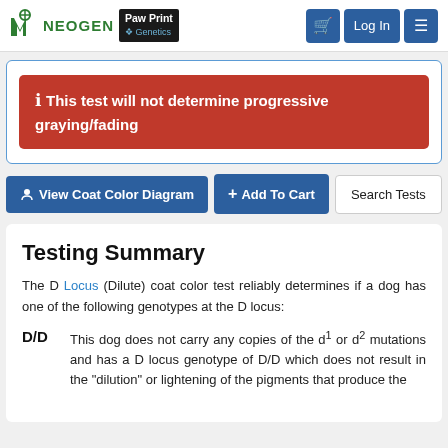NEOGEN Paw Print Genetics — Log In
This test will not determine progressive graying/fading
View Coat Color Diagram   + Add To Cart   Search Tests
Testing Summary
The D Locus (Dilute) coat color test reliably determines if a dog has one of the following genotypes at the D locus:
D/D  This dog does not carry any copies of the d1 or d2 mutations and has a D locus genotype of D/D which does not result in the "dilution" or lightening of the pigments that produce the